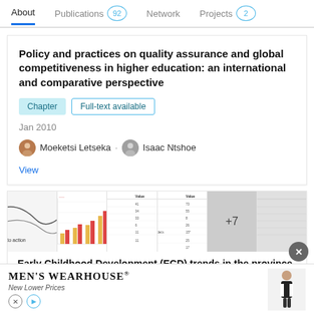About | Publications 92 | Network | Projects 2
Policy and practices on quality assurance and global competitiveness in higher education: an international and comparative perspective
Chapter | Full-text available
Jan 2010
Moeketsi Letseka · Isaac Ntshoe
View
[Figure (screenshot): Thumbnail images of chapter pages including a bar chart]
Early Childhood Development (ECD) trends in the province of the Eastern Cape